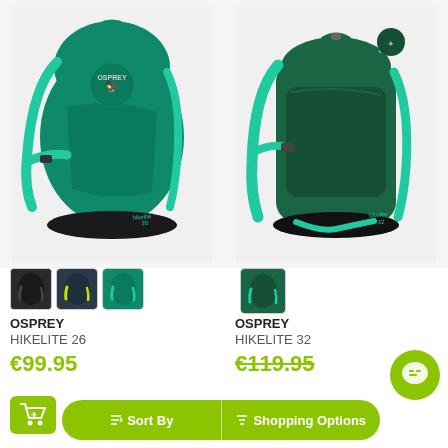[Figure (photo): Osprey Hikelite 26 teal/green backpack product photo on light gray background]
[Figure (photo): Osprey Hikelite 32 dark green backpack product photo on light gray background]
[Figure (photo): Three color swatches for Hikelite 26: black, yellow-green/navy, teal]
[Figure (photo): One color swatch for Hikelite 32: teal/green]
OSPREY
HIKELITE 26
€99.95
OSPREY
HIKELITE 32
€119.95
Sort By
Shopping Options